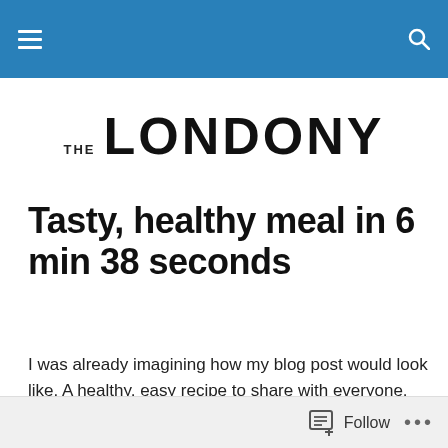THE LONDONY
Tasty, healthy meal in 6 min 38 seconds
I was already imagining how my blog post would look like. A healthy, easy recipe to share with everyone. Bulgur wheat with tomato sauce that always, always takes less than 10 minutes to cook. 6 minutes 38 seconds more precisely.
Follow